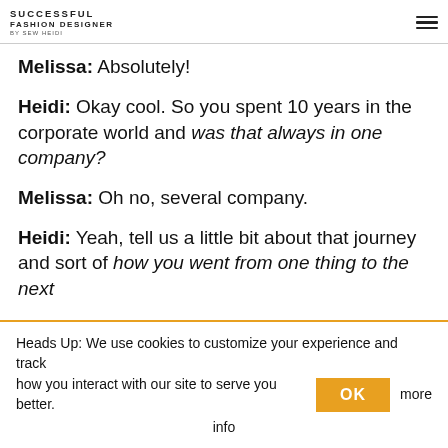SUCCESSFUL FASHION DESIGNER BY SEW HEIDI
Melissa: Absolutely!
Heidi: Okay cool. So you spent 10 years in the corporate world and was that always in one company?
Melissa: Oh no, several company.
Heidi: Yeah, tell us a little bit about that journey and sort of how you went from one thing to the next
Heads Up: We use cookies to customize your experience and track how you interact with our site to serve you better. OK more info